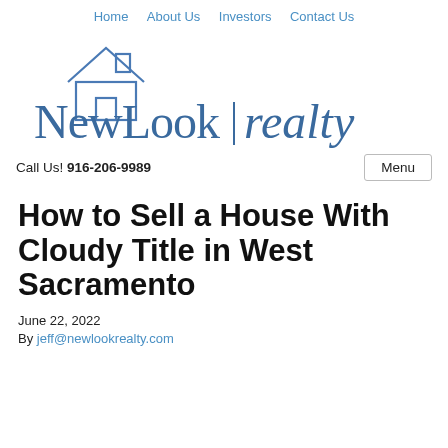Home  About Us  Investors  Contact Us
[Figure (logo): NewLook Realty logo with house icon above stylized text 'NewLook | realty' in blue serif font]
Call Us! 916-206-9989
How to Sell a House With Cloudy Title in West Sacramento
June 22, 2022
By jeff@newlookrealty.com